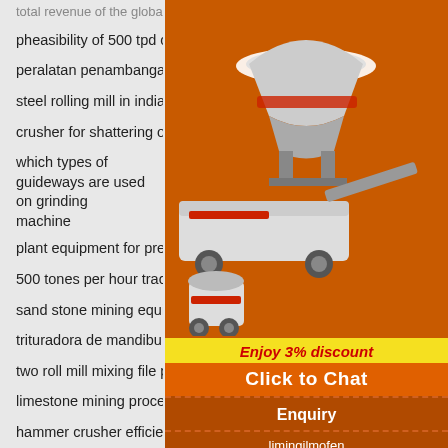total revenue of the global mining industry
pheasibility of 500 tpd cement grinding plant
peralatan penambangan batu uk untuk dijual
steel rolling mill in india
crusher for shattering of limestone
which types of guideways are used on grinding machine
plant equipment for precipitated calcium carbo…
500 tones per hour track mounted crushers ke…
sand stone mining equipment india
trituradora de mandibulas tipo pef200x300
two roll mill mixing file pptx
limestone mining process in mining industry
hammer crusher efficient   bauxite stone proce…
hydrolic metal waste crushing equipments uk
to crush a limestone   how to acid wash quartz…
crawler mobile crusher plant manufacturers uruguay
[Figure (illustration): Sidebar advertisement showing mining/crushing machinery equipment on orange background with 'Enjoy 3% discount' and 'Click to Chat' banners, Enquiry section, and email limingjlmofen@sina.com]